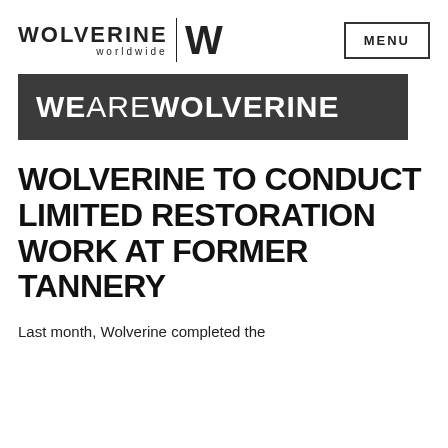[Figure (logo): Wolverine Worldwide logo with text 'WOLVERINE worldwide' and stylized W mark]
[Figure (logo): MENU button navigation element]
[Figure (illustration): Dark grey banner with white text reading 'WEAREWOLVERINE']
WOLVERINE TO CONDUCT LIMITED RESTORATION WORK AT FORMER TANNERY
Last month, Wolverine completed the